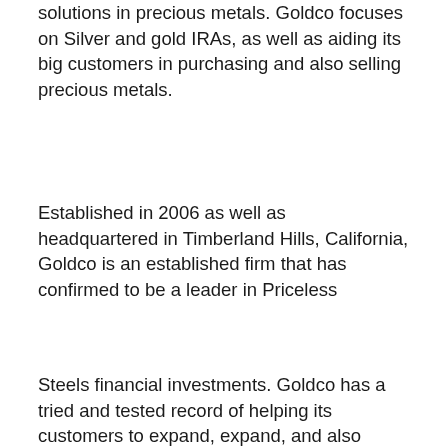solutions in precious metals. Goldco focuses on Silver and gold IRAs, as well as aiding its big customers in purchasing and also selling precious metals.
Established in 2006 as well as headquartered in Timberland Hills, California, Goldco is an established firm that has confirmed to be a leader in Priceless
Steels financial investments. Goldco has a tried and tested record of helping its customers to expand, expand, and also safeguard their wealth via investment in metals such as great, silver, platinum, and also palladium.
A distinct high quality of Goldco is its